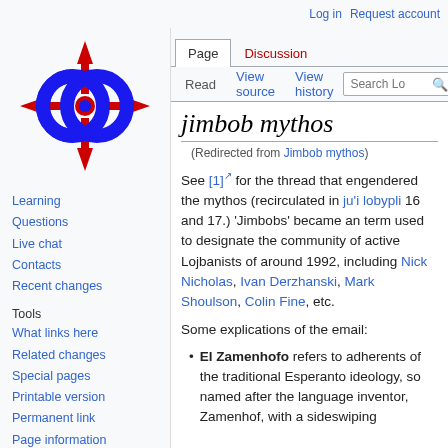Log in | Request account
[Figure (logo): Lojban wiki logo: two interlocked blue rings with red directional arrows pointing north, south, east, west]
Learning
Questions
Live chat
Contacts
Recent changes
Tools
What links here
Related changes
Special pages
Printable version
Permanent link
Page information
jimbob mythos
(Redirected from Jimbob mythos)
See [1] for the thread that engendered the mythos (recirculated in ju'i lobypli 16 and 17.) 'Jimbobs' became an term used to designate the community of active Lojbanists of around 1992, including Nick Nicholas, Ivan Derzhanski, Mark Shoulson, Colin Fine, etc.
Some explications of the email:
El Zamenhofo refers to adherents of the traditional Esperanto ideology, so named after the language inventor, Zamenhof, with a sideswiping